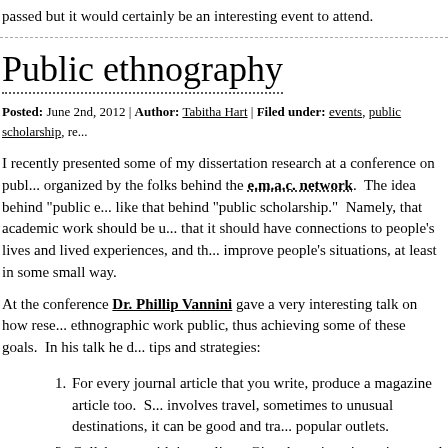passed but it would certainly be an interesting event to attend.
Public ethnography
Posted: June 2nd, 2012 | Author: Tabitha Hart | Filed under: events, public scholarship, re...
I recently presented some of my dissertation research at a conference on publ... organized by the folks behind the e.m.a.c. network. The idea behind "public e... like that behind "public scholarship." Namely, that academic work should be u... that it should have connections to people's lives and lived experiences, and th... improve people's situations, at least in some small way.
At the conference Dr. Phillip Vannini gave a very interesting talk on how rese... ethnographic work public, thus achieving some of these goals. In his talk he d... tips and strategies:
For every journal article that you write, produce a magazine article too. S... involves travel, sometimes to unusual destinations, it can be good and tra... popular outlets.
Collaborate with journalists. Give them time, interviews, and material fo...